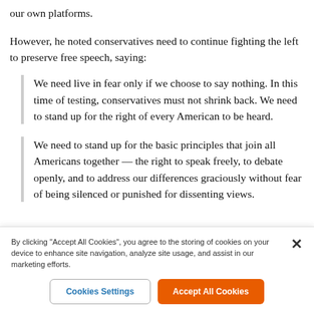our own platforms.
However, he noted conservatives need to continue fighting the left to preserve free speech, saying:
We need live in fear only if we choose to say nothing. In this time of testing, conservatives must not shrink back. We need to stand up for the right of every American to be heard.
We need to stand up for the basic principles that join all Americans together — the right to speak freely, to debate openly, and to address our differences graciously without fear of being silenced or punished for dissenting views.
By clicking "Accept All Cookies", you agree to the storing of cookies on your device to enhance site navigation, analyze site usage, and assist in our marketing efforts.